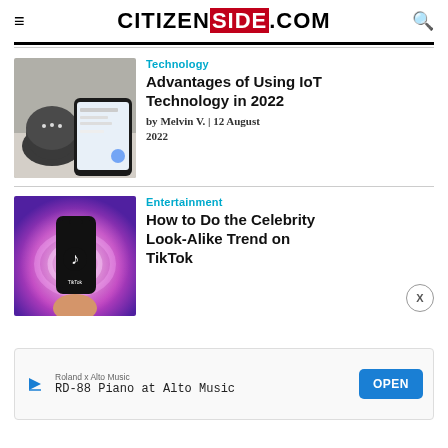CITIZENSIDE.COM
Technology
Advantages of Using IoT Technology in 2022
by Melvin V. | 12 August 2022
[Figure (photo): Google Home Mini smart speaker next to a smartphone on a textured surface]
Entertainment
How to Do the Celebrity Look-Alike Trend on TikTok
[Figure (photo): Hand holding a smartphone with TikTok app open, colorful pink/purple glowing background]
Roland x Alto Music
RD-88 Piano at Alto Music
OPEN